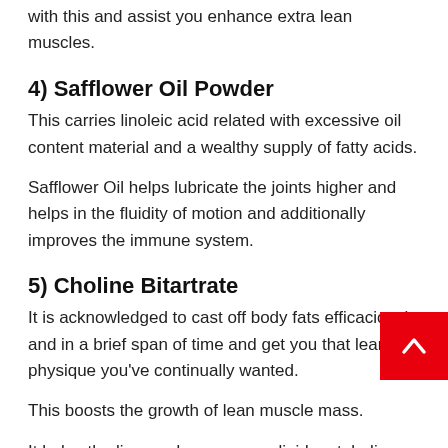with this and assist you enhance extra lean muscles.
4) Safflower Oil Powder
This carries linoleic acid related with excessive oil content material and a wealthy supply of fatty acids.
Safflower Oil helps lubricate the joints higher and helps in the fluidity of motion and additionally improves the immune system.
5) Choline Bitartrate
It is acknowledged to cast off body fats efficaciously and in a brief span of time and get you that lean physique you've continually wanted.
This boosts the growth of lean muscle mass.
It helps the liver and encourages lipid metabolism,